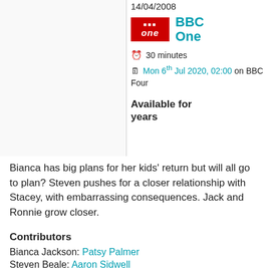14/04/2008
[Figure (logo): BBC One red logo with 'bbc one' text in white]
BBC One
30 minutes
Mon 6th Jul 2020, 02:00 on BBC Four
Available for years
Bianca has big plans for her kids' return but will all go to plan? Steven pushes for a closer relationship with Stacey, with embarrassing consequences. Jack and Ronnie grow closer.
Contributors
Bianca Jackson: Patsy Palmer
Steven Beale: Aaron Sidwell